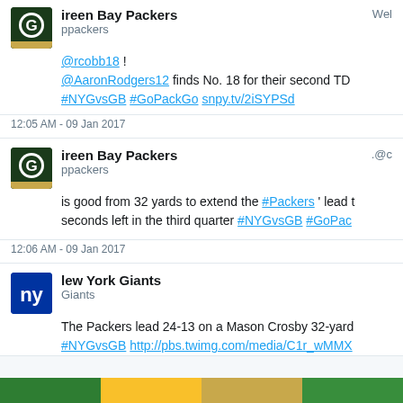[Figure (screenshot): Partial tweet from Green Bay Packers account. Avatar shows Packers 'G' logo. Account name: Green Bay Packers, handle: @packers. Right side: 'Wel...' truncated. Tweet content: '@rcobb18 !' and '@AaronRodgers12 finds No. 18 for their second TD' and '#NYGvsGB #GoPackGo snpy.tv/2iSYPSd'. Timestamp: 12:05 AM - 09 Jan 2017.]
[Figure (screenshot): Tweet from Green Bay Packers account. Avatar shows Packers 'G' logo. Account name: Green Bay Packers, handle: @packers. Right side: '.@c...' truncated. Tweet content: 'is good from 32 yards to extend the #Packers ' lead t... seconds left in the third quarter #NYGvsGB #GoPac...'. Timestamp: 12:06 AM - 09 Jan 2017.]
[Figure (screenshot): Partial tweet from New York Giants account. Avatar shows NY Giants logo. Account name: New York Giants, handle: @Giants. Tweet content: 'The Packers lead 24-13 on a Mason Crosby 32-yard... #NYGvsGB http://pbs.twimg.com/media/C1r_wMMX...' truncated.]